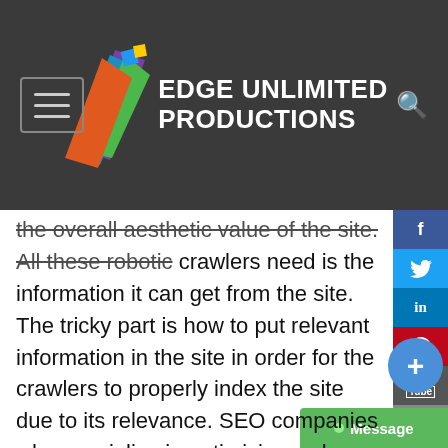[Figure (logo): Edge Unlimited Productions logo with colorful layered pages graphic and white bold text]
the overall aesthetic value of the site. All these robotic crawlers need is the information it can get from the site. The tricky part is how to put relevant information in the site in order for the crawlers to properly index the site due to its relevance. SEO companies who specialize in optimizing web sites must also know how to put a site in front of others in order to bring it to the attention of the Internet users. The search optimizers who will handle your site must be able to know the right strategies to place the web site ahead of others in its field through accepted methods of optimization. SEO web design is a competitive area where